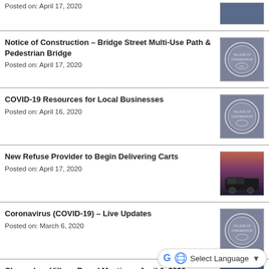Posted on: April 17, 2020
[Figure (photo): Partial view of a photo thumbnail at top of page]
Notice of Construction - Bridge Street Multi-Use Path & Pedestrian Bridge
Posted on: April 17, 2020
[Figure (logo): Channahon village seal logo on gray background]
COVID-19 Resources for Local Businesses
Posted on: April 16, 2020
[Figure (logo): Channahon village seal logo on gray background]
New Refuse Provider to Begin Delivering Carts
Posted on: April 17, 2020
[Figure (photo): Refuse truck at dusk with colorful sky]
Coronavirus (COVID-19) - Live Updates
Posted on: March 6, 2020
[Figure (logo): Channahon village seal logo on gray background]
Channahon Village Board Meeting - April 6, 2020
Posted on: April 3, 2020
[Figure (photo): Partial view of photo at bottom of page]